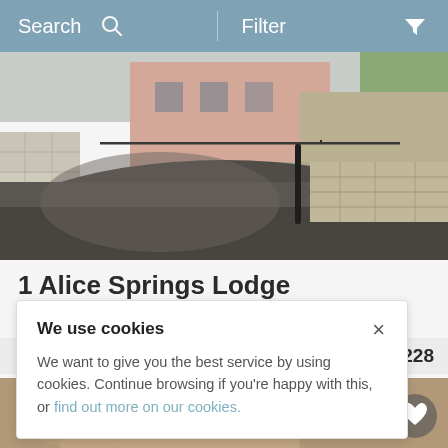Search   Filter
[Figure (photo): Exterior photo of 1 Alice Springs Lodge showing a stone and pink rendered building with a curved tarmac driveway, stone boundary wall, and metal railings.]
1 Alice Springs Lodge
Usk (3.5 Mls NW), South Wales
We use cookies
We want to give you the best service by using cookies. Continue browsing if you're happy with this, or find out more on our cookies.
£1,228
[Figure (photo): Partial thumbnail of a property interior or exterior at the bottom of the screen.]